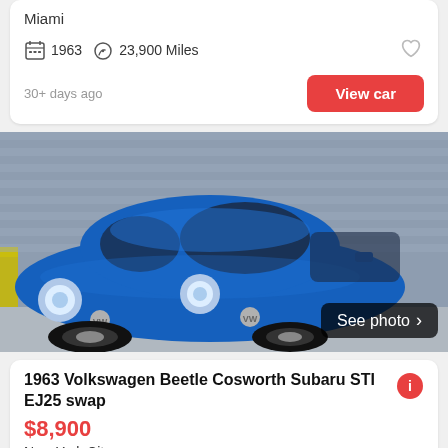Miami
1963  23,900 Miles
30+ days ago
View car
[Figure (photo): Blue 1963 Volkswagen Beetle with custom lowered stance and wide body, parked in front of a corrugated metal wall. 'See photo >' badge in lower right corner.]
1963 Volkswagen Beetle Cosworth Subaru STI EJ25 swap
$8,900
New York City
1963  100 Mil...